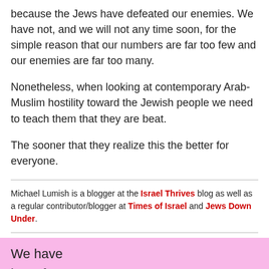because the Jews have defeated our enemies. We have not, and we will not any time soon, for the simple reason that our numbers are far too few and our enemies are far too many.
Nonetheless, when looking at contemporary Arab-Muslim hostility toward the Jewish people we need to teach them that they are beat.
The sooner that they realize this the better for everyone.
Michael Lumish is a blogger at the Israel Thrives blog as well as a regular contributor/blogger at Times of Israel and Jews Down Under.
We have lots of ideas, but we need more resources